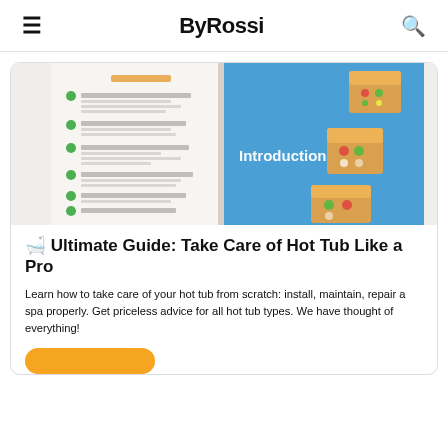ByRossi
[Figure (screenshot): Open book/guide with a table of contents page visible on the left and a blue page with 3D hot tub icons on the right, showing 'Introduction' text overlay.]
🛁 Ultimate Guide: Take Care of Hot Tub Like a Pro
Learn how to take care of your hot tub from scratch: install, maintain, repair a spa properly. Get priceless advice for all hot tub types. We have thought of everything!